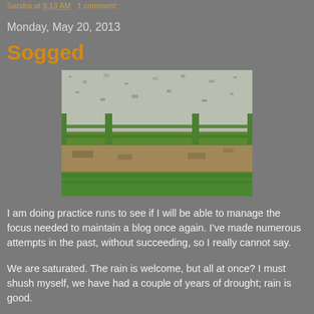Sandra at 9:13 AM   1 comment:
Monday, May 20, 2013
Sogged
[Figure (photo): A flooded or waterlogged paddock/field with a green wooden fence in the foreground, muddy/wet ground visible, and grass in the lower portion.]
I am doing practice runs to see if I will be able to manage the focus needed to maintain a blog once again. I've made numerous attempts in the past, without succeeding, so I really cannot say.
We are saturated. The rain is welcome, but all at once? I must shush myself, we have had a couple of years of drought; rain is good.